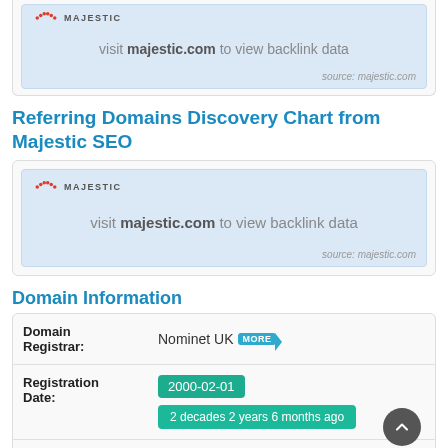[Figure (screenshot): Majestic SEO widget showing 'visit majestic.com to view backlink data' with source: majestic.com (top, partially clipped)]
Referring Domains Discovery Chart from Majestic SEO
[Figure (screenshot): Majestic SEO widget showing 'visit majestic.com to view backlink data' with source: majestic.com]
Domain Information
| Field | Value |
| --- | --- |
| Domain Registrar: | Nominet UK MORE |
| Registration Date: | 2000-02-01 / 2 decades 2 years 6 months ago |
| Last Modified: | (partially visible) |